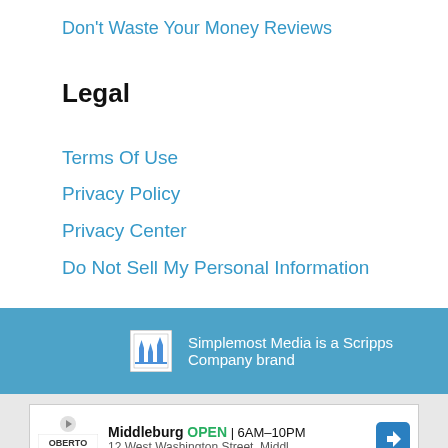Don't Waste Your Money Reviews
Legal
Terms Of Use
Privacy Policy
Privacy Center
Do Not Sell My Personal Information
Simplemost Media is a Scripps Company brand
[Figure (other): Advertisement banner: Oberto brand ad showing Middleburg OPEN 6AM-10PM, 12 West Washington Street, Middl...]